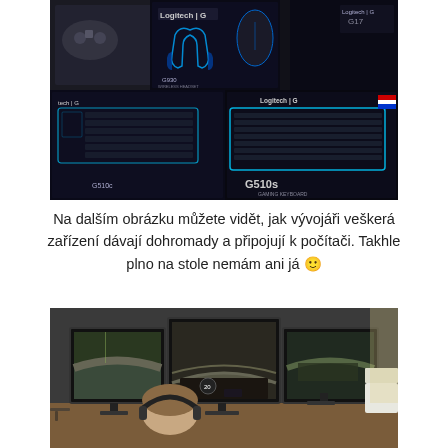[Figure (photo): Photo of Logitech G gaming peripherals packaging displayed on a table — includes G930 headset, G510s gaming keyboards (two boxes visible), Logitech G mice, and other gaming accessories, all with dark packaging and blue neon-style keyboard illustrations.]
Na dalším obrázku můžete vidět, jak vývojáři veškerá zařízení dávají dohromady a připojují k počítači. Takhle plno na stole nemám ani já 🙂
[Figure (photo): Photo of a person sitting at a desk with three monitors arranged in a wide arc, showing a racing/driving game. The person is wearing headphones. The setup is in an office-like environment.]